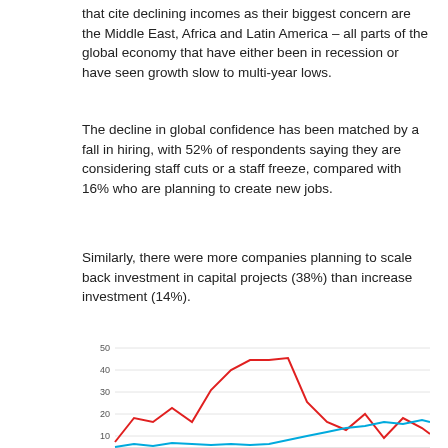that cite declining incomes as their biggest concern are the Middle East, Africa and Latin America – all parts of the global economy that have either been in recession or have seen growth slow to multi-year lows.
The decline in global confidence has been matched by a fall in hiring, with 52% of respondents saying they are considering staff cuts or a staff freeze, compared with 16% who are planning to create new jobs.
Similarly, there were more companies planning to scale back investment in capital projects (38%) than increase investment (14%).
[Figure (line-chart): Line chart with two series (red and blue) plotted over time. Y-axis from 0 to 50. Red line starts around 3, rises to ~15, ~13, ~20, ~13, then climbs to ~29, ~38, ~44, drops sharply to ~8, ~13, ~13, ~8, ~5, ~10, ~15, ~10, ~7. Blue line stays near 0 for most then rises at far right.]